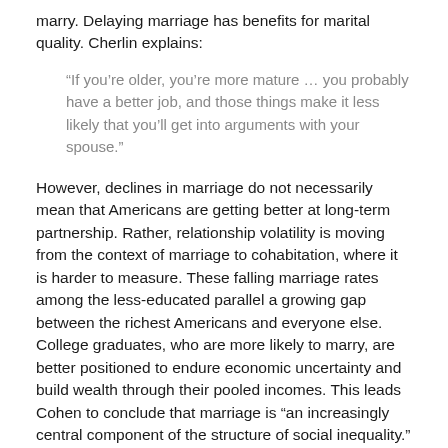marry. Delaying marriage has benefits for marital quality. Cherlin explains:
“If you’re older, you’re more mature … you probably have a better job, and those things make it less likely that you’ll get into arguments with your spouse.”
However, declines in marriage do not necessarily mean that Americans are getting better at long-term partnership. Rather, relationship volatility is moving from the context of marriage to cohabitation, where it is harder to measure. These falling marriage rates among the less-educated parallel a growing gap between the richest Americans and everyone else. College graduates, who are more likely to marry, are better positioned to endure economic uncertainty and build wealth through their pooled incomes. This leads Cohen to conclude that marriage is “an increasingly central component of the structure of social inequality.” In other words, while declining divorce may look like a positive trend at first glance, it may speak more to growing inequality than it